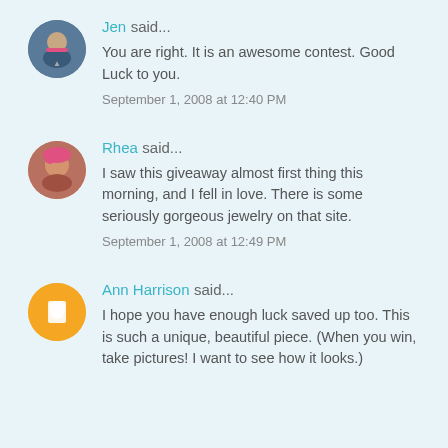Jen said... You are right. It is an awesome contest. Good Luck to you. September 1, 2008 at 12:40 PM
Rhea said... I saw this giveaway almost first thing this morning, and I fell in love. There is some seriously gorgeous jewelry on that site. September 1, 2008 at 12:49 PM
Ann Harrison said... I hope you have enough luck saved up too. This is such a unique, beautiful piece. (When you win, take pictures! I want to see how it looks.)